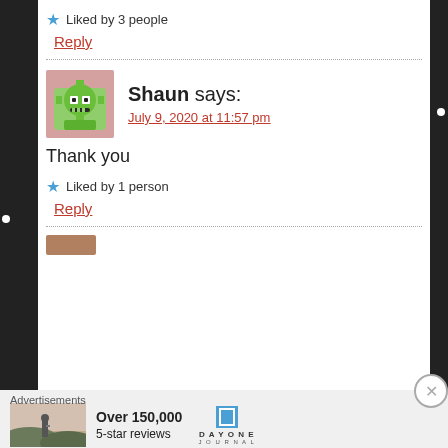★ Liked by 3 people
Reply
Shaun says:
July 9, 2020 at 11:57 pm
Thank you
★ Liked by 1 person
Reply
[Figure (screenshot): Advertisement banner: Over 150,000 5-star reviews — Day One Journal app]
Advertisements